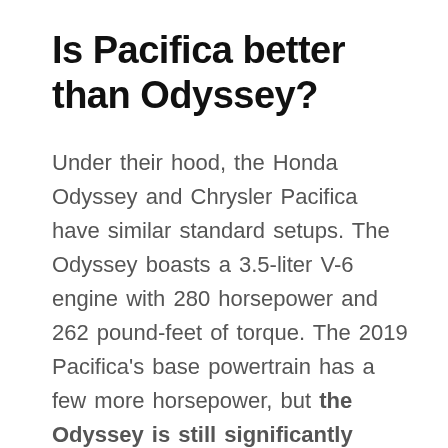Is Pacifica better than Odyssey?
Under their hood, the Honda Odyssey and Chrysler Pacifica have similar standard setups. The Odyssey boasts a 3.5-liter V-6 engine with 280 horsepower and 262 pound-feet of torque. The 2019 Pacifica's base powertrain has a few more horsepower, but the Odyssey is still significantly quicker to 60 mph. via
How many miles can a Chrysler Pacifica go on a tank of gas?